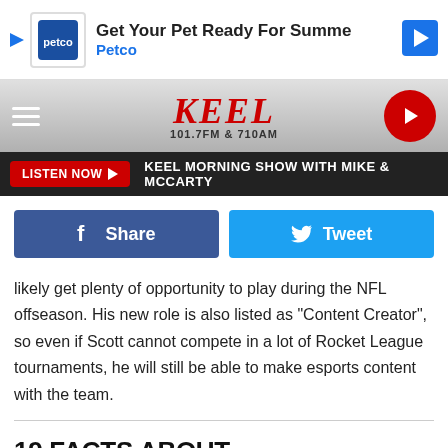[Figure (screenshot): Petco advertisement banner: logo, text 'Get Your Pet Ready For Summe', 'Petco', and a blue diamond navigation icon]
[Figure (screenshot): KEEL 101.7FM & 710AM radio station navigation bar with hamburger menu, KEEL logo in red italic, and red play button]
[Figure (screenshot): Dark listen bar with red 'LISTEN NOW' button and text 'KEEL MORNING SHOW WITH MIKE & MCCARTY']
[Figure (screenshot): Social sharing buttons: dark blue Facebook Share button and light blue Twitter Tweet button]
likely get plenty of opportunity to play during the NFL offseason. His new role is also listed as "Content Creator", so even if Scott cannot compete in a lot of Rocket League tournaments, he will still be able to make esports content with the team.
19 FACTS ABOUT SHREVEPORT'S CENTENARY COLLEGE FOOTBALL